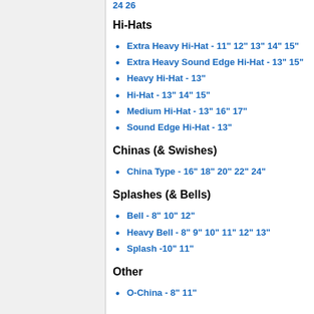24 26
Hi-Hats
Extra Heavy Hi-Hat - 11" 12" 13" 14" 15"
Extra Heavy Sound Edge Hi-Hat - 13" 15"
Heavy Hi-Hat - 13"
Hi-Hat - 13" 14" 15"
Medium Hi-Hat - 13" 16" 17"
Sound Edge Hi-Hat - 13"
Chinas (& Swishes)
China Type - 16" 18" 20" 22" 24"
Splashes (& Bells)
Bell - 8" 10" 12"
Heavy Bell - 8" 9" 10" 11" 12" 13"
Splash -10" 11"
Other
O-China - 8" 11"